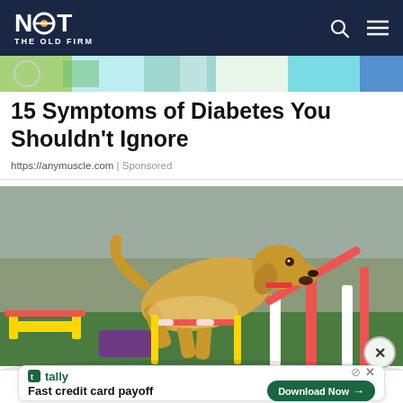NOT THE OLD FIRM
[Figure (photo): Partial top image strip showing colorful cartoon/illustration at top of page]
15 Symptoms of Diabetes You Shouldn’t Ignore
https://anymuscle.com | Sponsored
[Figure (photo): A yellow Labrador dog with red collar jumping over an agility hurdle bar at an outdoor dog agility course]
[Figure (infographic): Advertisement banner: Tally - Fast credit card payoff - Download Now button]